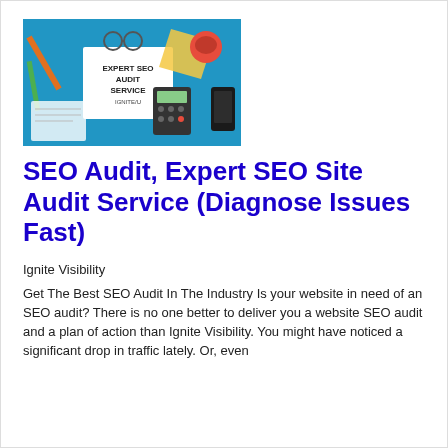[Figure (illustration): Expert SEO Audit Service banner image with blue background showing office supplies, papers, calculator, coffee cup, glasses, and hands holding a document that reads 'EXPERT SEO AUDIT SERVICE IGNITE/U']
SEO Audit, Expert SEO Site Audit Service (Diagnose Issues Fast)
Ignite Visibility
Get The Best SEO Audit In The Industry Is your website in need of an SEO audit? There is no one better to deliver you a website SEO audit and a plan of action than Ignite Visibility. You might have noticed a significant drop in traffic lately. Or, even